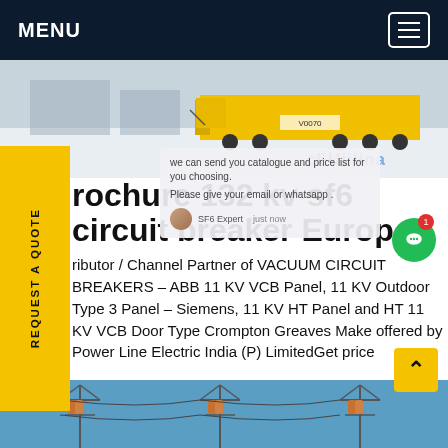MENU
[Figure (photo): Snow scene with yellow heavy transport truck/trailer at a substation or industrial site]
brochure 132 kv sf6 circuit breaker Europe
Distributor / Channel Partner of VACUUM CIRCUIT BREAKERS - ABB 11 KV VCB Panel, 11 KV Outdoor Type 3 Panel - Siemens, 11 KV HT Panel and HT 11 KV VCB Door Type Crompton Greaves Make offered by Power Line Electric India (P) LimitedGet price
[Figure (photo): Bottom photo showing electrical transmission tower/substation infrastructure with orange/brown insulators against blue sky]